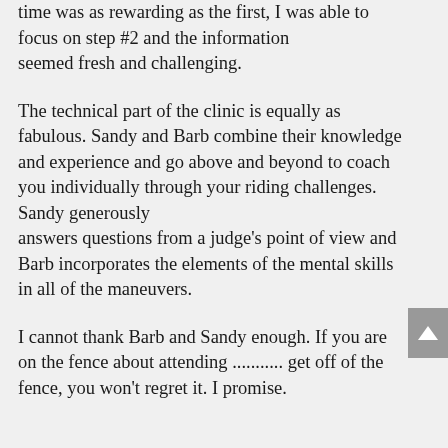time was as rewarding as the first, I was able to focus on step #2 and the information seemed fresh and challenging.
The technical part of the clinic is equally as fabulous. Sandy and Barb combine their knowledge and experience and go above and beyond to coach you individually through your riding challenges. Sandy generously answers questions from a judge's point of view and Barb incorporates the elements of the mental skills in all of the maneuvers.
I cannot thank Barb and Sandy enough. If you are on the fence about attending ........... get off of the fence, you won't regret it. I promise.